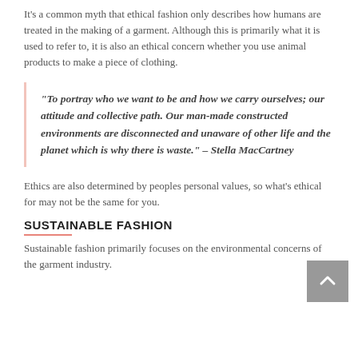It's a common myth that ethical fashion only describes how humans are treated in the making of a garment. Although this is primarily what it is used to refer to, it is also an ethical concern whether you use animal products to make a piece of clothing.
“To portray who we want to be and how we carry ourselves; our attitude and collective path. Our man-made constructed environments are disconnected and unaware of other life and the planet which is why there is waste.” – Stella MacCartney
Ethics are also determined by peoples personal values, so what’s ethical for may not be the same for you.
SUSTAINABLE FASHION
Sustainable fashion primarily focuses on the environmental concerns of the garment industry.